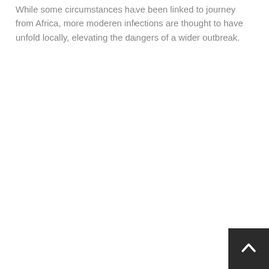While some circumstances have been linked to journey from Africa, more moderen infections are thought to have unfold locally, elevating the dangers of a wider outbreak.